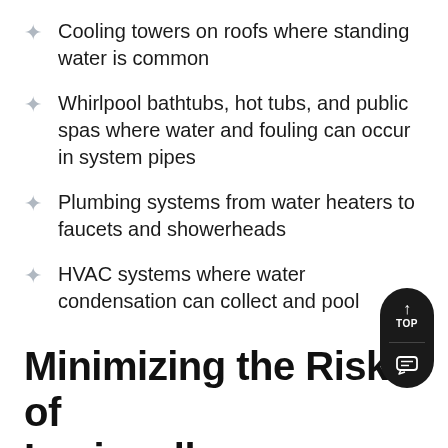Cooling towers on roofs where standing water is common
Whirlpool bathtubs, hot tubs, and public spas where water and fouling can occur in system pipes
Plumbing systems from water heaters to faucets and showerheads
HVAC systems where water condensation can collect and pool
Minimizing the Risk of Legionella
The water treatment objectives are to prevent